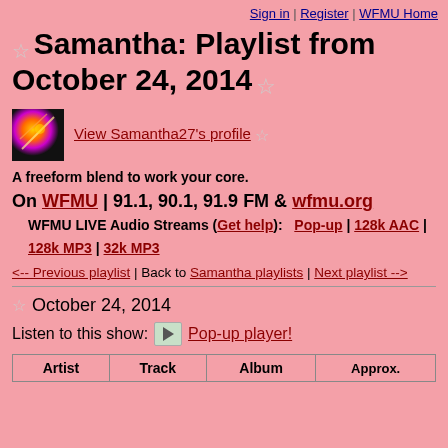Sign in | Register | WFMU Home
☆ Samantha: Playlist from October 24, 2014 ☆
[Figure (photo): Small thumbnail image with colorful abstract/concert photo]
View Samantha27's profile ☆
A freeform blend to work your core.
On WFMU | 91.1, 90.1, 91.9 FM & wfmu.org
WFMU LIVE Audio Streams (Get help): Pop-up | 128k AAC | 128k MP3 | 32k MP3
<-- Previous playlist | Back to Samantha playlists | Next playlist -->
☆ October 24, 2014
Listen to this show: ▶ Pop-up player!
| Artist | Track | Album | Approx. |
| --- | --- | --- | --- |